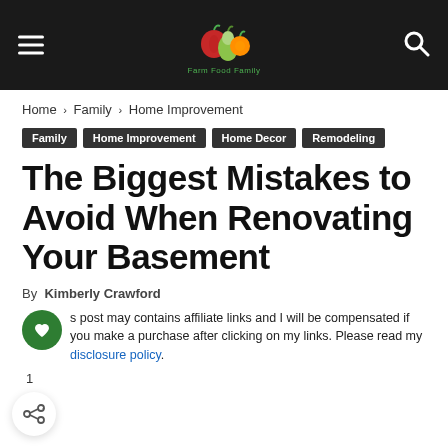Farm Food Family — site header with logo, hamburger menu, and search icon
Home › Family › Home Improvement
Family
Home Improvement
Home Decor
Remodeling
The Biggest Mistakes to Avoid When Renovating Your Basement
By Kimberly Crawford
This post may contains affiliate links and I will be compensated if you make a purchase after clicking on my links. Please read my disclosure policy.